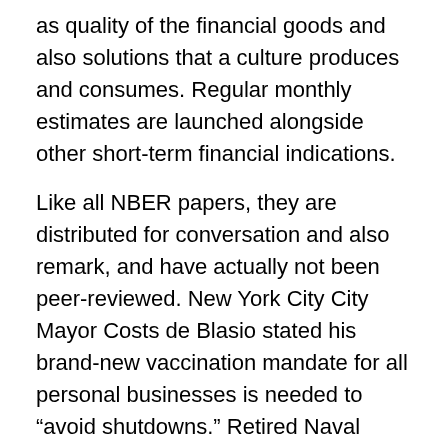as quality of the financial goods and also solutions that a culture produces and consumes. Regular monthly estimates are launched alongside other short-term financial indications.
Like all NBER papers, they are distributed for conversation and also remark, and have actually not been peer-reviewed. New York City City Mayor Costs de Blasio stated his brand-new vaccination mandate for all personal businesses is needed to “avoid shutdowns.” Retired Naval Commander Peter Brookes reviews Biden’s expected telephone call with Putin amidst tension with Ukraine, the 2022 Olympic Games, expanding threat of U.S. adversaries as well as oil prices. Micron’s Atlanta Style Center, which will certainly open up for business in January 2022, will certainly produce as much as 500 tasks throughout different STEM disciplines, consisting of computer hardware and also electrical as well as digital design. However some workers watched out for current increases in resources prices and unpredictabilities